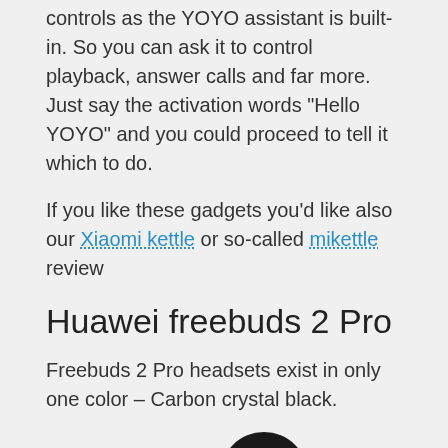controls as the YOYO assistant is built-in. So you can ask it to control playback, answer calls and far more. Just say the activation words “Hello YOYO” and you could proceed to tell it which to do.
If you like these gadgets you’d like also our Xiaomi kettle or so-called mikettle review
Huawei freebuds 2 Pro
Freebuds 2 Pro headsets exist in only one color – Carbon crystal black.
[Figure (photo): Huawei Freebuds 2 Pro wireless earbuds in Carbon crystal black color, showing the earbuds partially cropped at the bottom of the page]